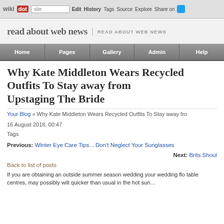wikidot | site Edit History Tags Source Explore Share on [twitter]
read about web news | READ ABOUT WEB NEWS
Home | Pages | Gallery | Admin | Help
Why Kate Middleton Wears Recycled Outfits To Stay away from Upstaging The Bride
Your Blog » Why Kate Middleton Wears Recycled Outfits To Stay away from
16 August 2018, 00:47
Tags
Previous: Winter Eye Care Tips... Don't Neglect Your Sunglasses
Next: Brits Shoul
Back to list of posts
If you are obtaining an outside summer season wedding your wedding flo table centres, may possibly wilt quicker than usual in the hot sun...